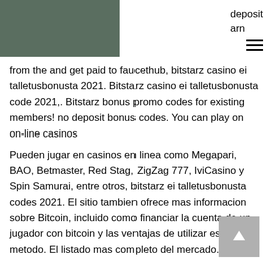deposit
arn
from the and get paid to faucethub, bitstarz casino ei talletusbonusta 2021. Bitstarz casino ei talletusbonusta code 2021,. Bitstarz bonus promo codes for existing members! no deposit bonus codes. You can play on on-line casinos
Pueden jugar en casinos en linea como Megapari, BAO, Betmaster, Red Stag, ZigZag 777, IviCasino y Spin Samurai, entre otros, bitstarz ei talletusbonusta codes 2021. El sitio tambien ofrece mas informacion sobre Bitcoin, incluido como financiar la cuenta de un jugador con bitcoin y las ventajas de utilizar este metodo. El listado mas completo del mercado.
Bitcoin casino winners:
The Wild Chase - 244.6 bch
1 Can 2 Can - 689 btc
Sails of Gold - 415.9 bch